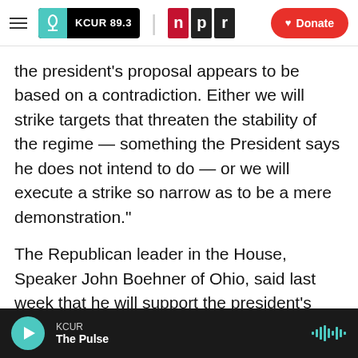KCUR 89.3 | npr | Donate
the president's proposal appears to be based on a contradiction. Either we will strike targets that threaten the stability of the regime — something the President says he does not intend to do — or we will execute a strike so narrow as to be a mere demonstration."
The Republican leader in the House, Speaker John Boehner of Ohio, said last week that he will support the president's request.
President Obama is set to address the nation at 9 p.m. ET. While he's expected to again make his
KCUR | The Pulse